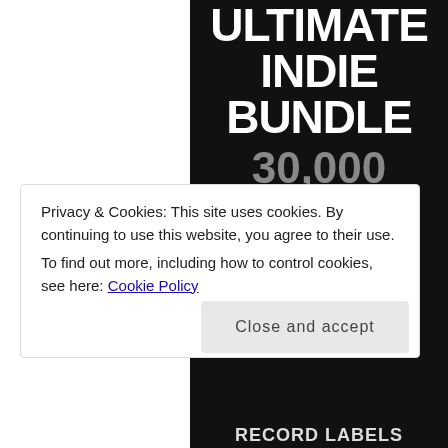[Figure (illustration): Black background promotional image for 'Ultimate Indie Bundle' showing text: ULTIMATE INDIE BUNDLE, 30,000 VENUES, 4,000 RADIO STATIONS, RECORD LABELS]
Privacy & Cookies: This site uses cookies. By continuing to use this website, you agree to their use.
To find out more, including how to control cookies, see here: Cookie Policy
Close and accept